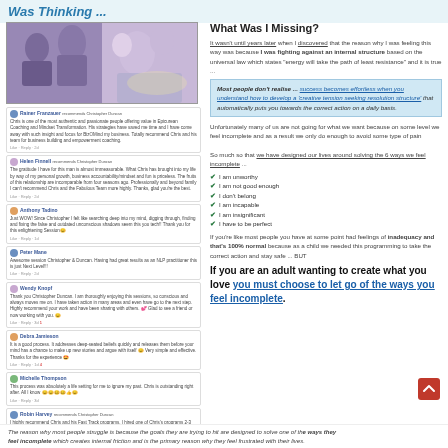Was Thinking ...
[Figure (photo): Collage of photos showing a man at events, speaking on stage, and with groups of people]
Rainer Franzauer recommends Christopher Duncan
Chris is one of the most authentic and passionate people offering value in Epicurean Coaching and Mindset Transformation. His strategies have saved me time and I have come away with such insight and focus for BizOMind my business. Totally recommend Chris and his team for business building and empowerment coaching.
Helen Finnell recommends Christopher Duncan
The gratitude I have for this man is almost immeasurable. What Chris has brought into my life by way of my personal growth, business accountability/mindset and fun is priceless. The fruits of this relationship are incomparable from four seasons ago. Professionally and beyond family I can't recommend Chris and the Fabulous Team more highly. Thanks, glad you're the best.
Anthony Tadino Just WOW! Since Christopher I felt like searching deep into my mind, digging through, finding and fixing the false and outdated unconscious shadows seem this you tech!! Thank you for this enlightening Session😊
Peter Mane Awesome session Christopher & Duncan. Having had great results as an NLP practitioner this is just Next Level!!!
Wendy Knopf Thank you Christopher Duncan. I am thoroughly enjoying this sessions, so conscious and always moves me on. I have taken action in many areas and even have go to the next step. Highly recommend your work and have been sharing with others. 💕 Glad to see a friend or now working with you. 😊
Debra Jamieson It is a good process. It addresses deep-seated beliefs quickly and releases them before your mind has a chance to make up new stories and argue with itself 😊 Very simple and effective. Thanks for the experience 🤩
Michelle Thompson This process was absolutely a life setting for me to ignore my past. Chris is outstanding right after. All I know 😊😊🥴🥴👍😊
Robin Harvey recommends Christopher Duncan
I highly recommend Chris and his Fast Track programs. I hired one of Chris's programs 2-3 years ago and it had such a major impact on my life that I have now completed another 3 extensive programs with Chris. I can 100% attribute significant positive changes in my life to Chris's programs and the struggle between to provide. He truly delivers results and I cannot thank him enough.
Barbie Rose Smith recommends Christopher Duncan
I have been working with Chris for the past 8 months and I am still blown away by the support and care for what he has offered me through the Magnetic Mind Abundance programme. I love the programme to me not doing it with my life that I am so excited about what I can now go out and offer my clients. Chris is straight-talking, honest, caring and compassionate, all at the same time with the scope for an awesome reason. Highly recommend his services and even more grateful for the doors he have helped me to open. Thank you.
What Was I Missing?
It wasn't until years later when I discovered that the reason why I was feeling this way was because I was fighting against an internal structure based on the universal law which states "energy will take the path of least resistance" and it is true ...
Most people don't realise ... success becomes effortless when you understand how to develop a 'creative tension seeking resolution structure' that automatically puts you towards the correct action on a daily basis.
Unfortunately many of us are not going for what we want because on some level we feel incomplete and as a result we only do enough to avoid some type of pain

So much so that we have designed our lives around solving the 6 ways we feel incomplete ...
I am unworthy
I am not good enough
I don't belong
I am incapable
I am insignificant
I have to be perfect
If you're like most people you have at some point had feelings of inadequacy and that's 100% normal because as a child we needed this programming to take the correct action and stay safe ... BUT
If you are an adult wanting to create what you love you must choose to let go of the ways you feel incomplete.
The reason why most people struggle is because the goals they are trying to hit are designed to solve one of the ways they feel incomplete which creates internal friction and is the primary reason why they feel frustrated with their lives.